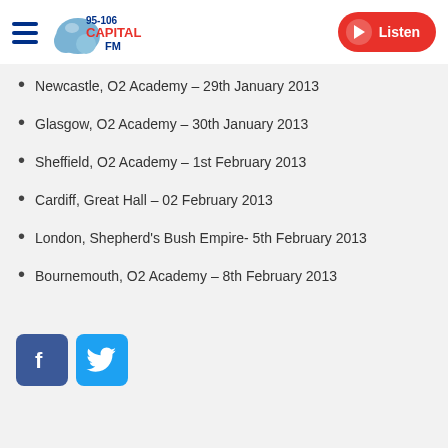Capital FM 95-106 | Listen
Newcastle, O2 Academy – 29th January 2013
Glasgow, O2 Academy – 30th January 2013
Sheffield, O2 Academy – 1st February 2013
Cardiff, Great Hall – 02 February 2013
London, Shepherd's Bush Empire- 5th February 2013
Bournemouth, O2 Academy – 8th February 2013
[Figure (logo): Facebook and Twitter social media share icons]